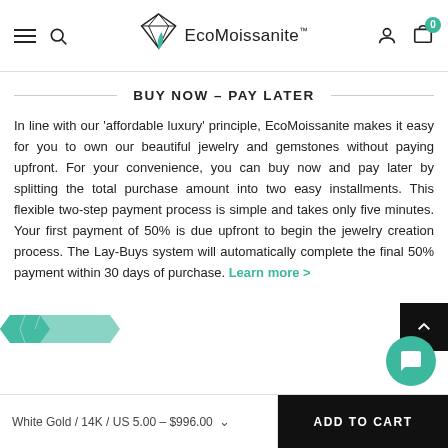EcoMoissanite™
BUY NOW - PAY LATER
In line with our 'affordable luxury' principle, EcoMoissanite makes it easy for you to own our beautiful jewelry and gemstones without paying upfront. For your convenience, you can buy now and pay later by splitting the total purchase amount into two easy installments. This flexible two-step payment process is simple and takes only five minutes. Your first payment of 50% is due upfront to begin the jewelry creation process. The Lay-Buys system will automatically complete the final 50% payment within 30 days of purchase. Learn more >
White Gold / 14K / US 5.00 - $996.00
ADD TO CART